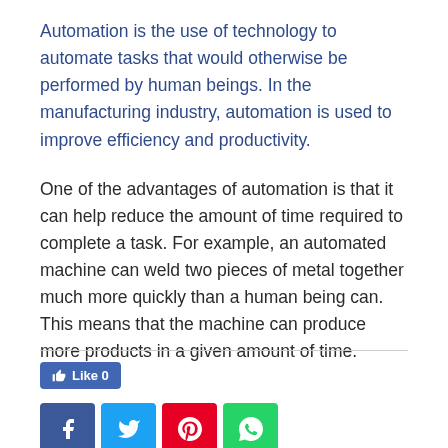Automation is the use of technology to automate tasks that would otherwise be performed by human beings. In the manufacturing industry, automation is used to improve efficiency and productivity.
One of the advantages of automation is that it can help reduce the amount of time required to complete a task. For example, an automated machine can weld two pieces of metal together much more quickly than a human being can. This means that the machine can produce more products in a given amount of time.
[Figure (other): Social media sharing buttons: Like 0 button (Facebook blue), and four icon buttons for Facebook (dark blue), Twitter (light blue), Pinterest (red), and WhatsApp (green).]